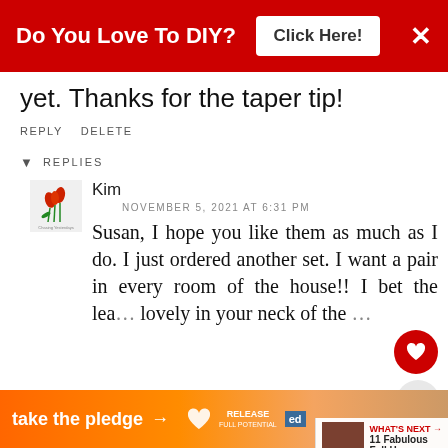Do You Love To DIY? Click Here! ×
yet. Thanks for the taper tip!
REPLY DELETE
▾ REPLIES
Kim
NOVEMBER 5, 2021 AT 6:31 PM
Susan, I hope you like them as much as I do. I just ordered another set. I want a pair in every room of the house!! I bet the lea... lovely in your neck of the ...
take the pledge →